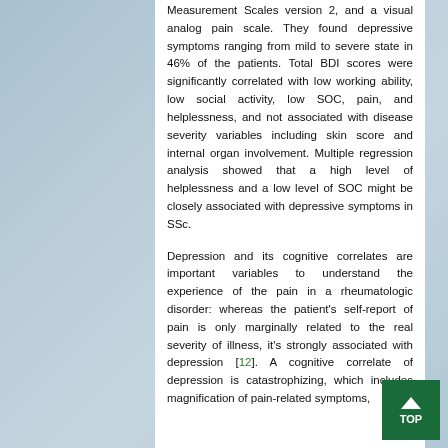Measurement Scales version 2, and a visual analog pain scale. They found depressive symptoms ranging from mild to severe state in 46% of the patients. Total BDI scores were significantly correlated with low working ability, low social activity, low SOC, pain, and helplessness, and not associated with disease severity variables including skin score and internal organ involvement. Multiple regression analysis showed that a high level of helplessness and a low level of SOC might be closely associated with depressive symptoms in SSc.
Depression and its cognitive correlates are important variables to understand the experience of the pain in a rheumatologic disorder: whereas the patient's self-report of pain is only marginally related to the real severity of illness, it's strongly associated with depression [12]. A cognitive correlate of depression is catastrophizing, which includes magnification of pain-related symptoms,